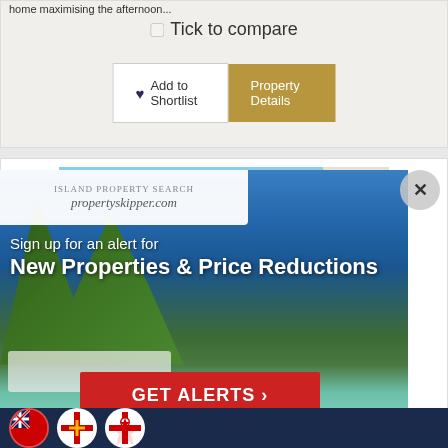home maximising the afternoon...
Tick to compare
Add to Shortlist
Property Details
[Figure (photo): Caribbean villa with pool, terrace, sea view and island in background]
[Figure (photo): Popup overlay showing tropical beach scene with palm trees and turquoise water, propertyskipper.com logo, sign up alert for New Properties & Price Reductions, GET ALERTS button, and close X button]
Sign up for an alert for
New Properties & Price Reductions
GET ALERTS ›
[Figure (photo): Three circular flag icons: Bermuda, Guernsey, Jersey]